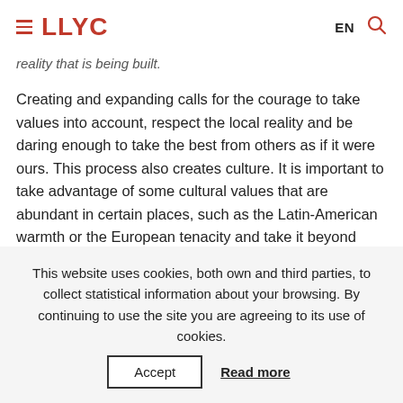LLYC  EN
reality that is being built.
Creating and expanding calls for the courage to take values into account, respect the local reality and be daring enough to take the best from others as if it were ours. This process also creates culture. It is important to take advantage of some cultural values that are abundant in certain places, such as the Latin-American warmth or the European tenacity and take it beyond their borders, thus generating knowledge and development.
This website uses cookies, both own and third parties, to collect statistical information about your browsing. By continuing to use the site you are agreeing to its use of cookies.
Accept  Read more